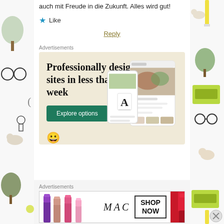auch mit Freude in die Zukunft. Alles wird gut!
★ Like
Reply
Advertisements
[Figure (infographic): Advertisement banner: light beige background. Large headline text 'Professionally designed sites in less than a week'. Green 'Explore options' button. Mockup screens of websites on the right side.]
Advertisements
[Figure (infographic): MAC cosmetics advertisement banner. Lipsticks on left, MAC logo in center, 'SHOP NOW' box on right, red lipstick on far right.]